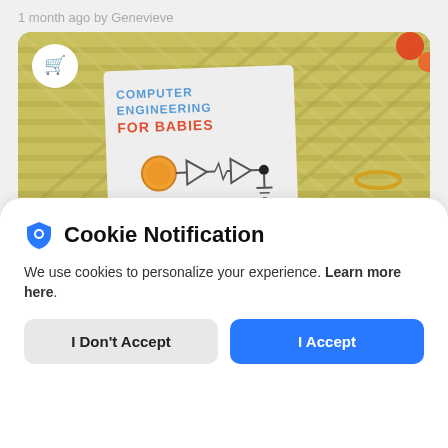1 month ago by Genevieve
[Figure (photo): Photo of a book titled 'Computer Engineering for Babies' by Chris Vatter, held on a woven mat background with colorful small toys. A white shopping cart icon bubble appears in the upper left of the photo.]
Cookie Notification
We use cookies to personalize your experience. Learn more here.
I Don't Accept
I Accept